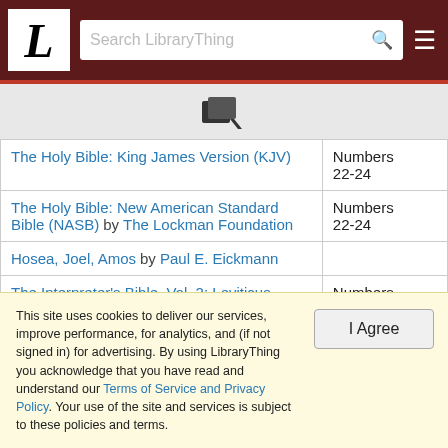LibraryThing header navigation with logo, search box, and menu
[Figure (other): Books/copy icon in gray area]
| Title | Reference |
| --- | --- |
| The Holy Bible: King James Version (KJV) | Numbers 22-24 |
| The Holy Bible: New American Standard Bible (NASB) by The Lockman Foundation | Numbers 22-24 |
| Hosea, Joel, Amos by Paul E. Eickmann |  |
| The Interpreter's Bible, Vol. 2: Leviticus, Numbers, Deuteronomy, Joshua, Judges, Ruth, Samuel by George Arthur Buttrick | Numbers 22-24 |
| [cut off] | Joshua |
This site uses cookies to deliver our services, improve performance, for analytics, and (if not signed in) for advertising. By using LibraryThing you acknowledge that you have read and understand our Terms of Service and Privacy Policy. Your use of the site and services is subject to these policies and terms.